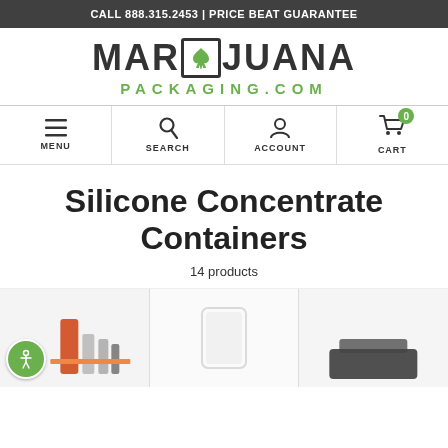CALL 888.315.2453 | PRICE BEAT GUARANTEE
[Figure (logo): MARIJUANA PACKAGING.COM logo with cannabis leaf icon replacing the U in MARIJUANA, green text for PACKAGING.COM]
[Figure (infographic): Navigation bar with MENU (hamburger icon), SEARCH (magnifier icon), ACCOUNT (person icon), CART (cart icon with 0 badge)]
Silicone Concentrate Containers
14 products
[Figure (photo): Three product thumbnails partially visible: first shows orange/red silicone containers with vials, second shows a clear container, third shows black containers]